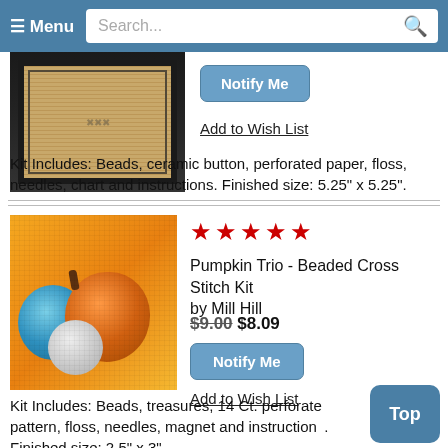≡ Menu  Search...
[Figure (photo): Partial view of a framed cross stitch product with dark background]
Notify Me
Add to Wish List
Kit Includes: Beads, ceramic button, perforated paper, floss, needles, chart and instructions. Finished size: 5.25" x 5.25".
[Figure (photo): Pumpkin Trio beaded cross stitch kit product image showing three pumpkins (blue, orange, white) on orange background]
★★★★★
Pumpkin Trio - Beaded Cross Stitch Kit by Mill Hill
$9.00 $8.09
Notify Me
Add to Wish List
Kit Includes: Beads, treasures, 14 Ct. perforated pattern, floss, needles, magnet and instructions. Finished size: 2.5" x 3"